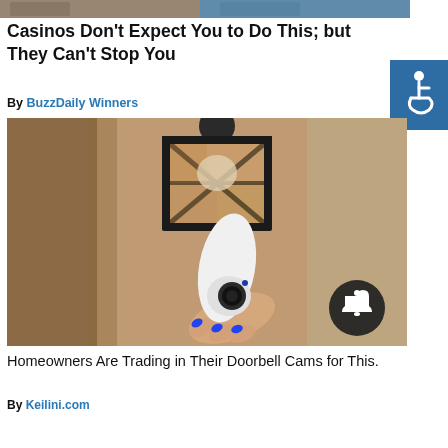[Figure (photo): Top strip showing partial images of people or scenes, cropped at the top of the page]
Casinos Don't Expect You to Do This; but They Can't Stop You
By BuzzDaily Winners
[Figure (photo): Photo of an outdoor wall lantern (black cage-style lamp) mounted on a stucco wall, with a white security camera being held by a hand with blue nail polish underneath it. A dark circular notification bell icon overlays the bottom right of the image.]
Homeowners Are Trading in Their Doorbell Cams for This.
By Keilini.com